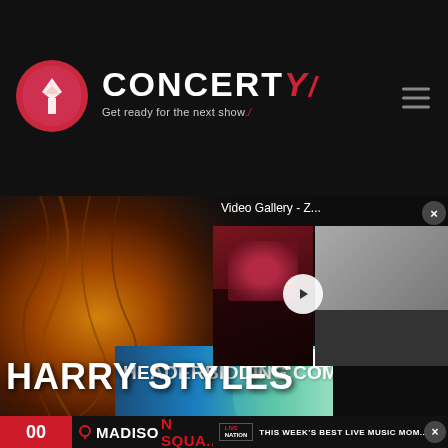[Figure (logo): Concerty website logo with circular icon and brand name on dark header]
[Figure (photo): Harry Styles promotional photo with warm hair/fire backlit tones, dark background, white text HARRY STYLES overlaid]
[Figure (screenshot): Video Gallery panel overlay with Z label, play button, red and dark thumbnails]
[Figure (screenshot): Live Nation banner: THIS WEEK'S BEST LIVE MUSIC MOME...]
[Figure (screenshot): HEADERBIDDING.COM advertisement banner: Your source for all things programmatic advertising.]